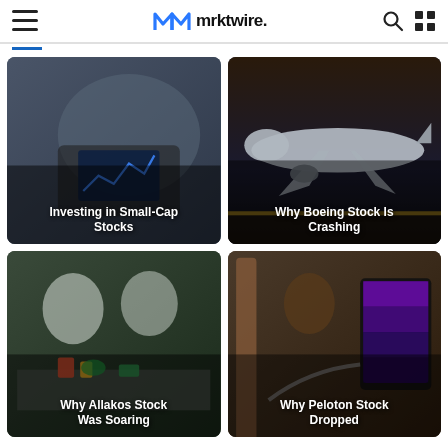mrktwire.
[Figure (photo): Man with beard and glasses working on laptop with stock chart on screen, dimly lit office background. Card title: Investing in Small-Cap Stocks]
[Figure (photo): Boeing 737 MAX aircraft on tarmac at night. Card title: Why Boeing Stock Is Crashing]
[Figure (photo): Scientists in lab coats and gloves working with samples. Card title: Why Allakos Stock Was Soaring]
[Figure (photo): Person looking at Peloton exercise bike screen showing fitness content. Card title: Why Peloton Stock Dropped]